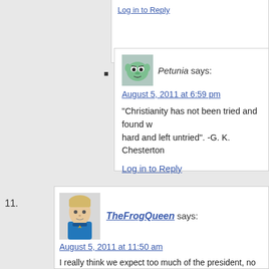Log in to Reply
Petunia says: August 5, 2011 at 6:59 pm
“Christianity has not been tried and found wanting, it’s been found hard and left untried”. -G. K. Chesterton
Log in to Reply
11. TheFrogQueen says: August 5, 2011 at 11:50 am
I really think we expect too much of the president, no matter who it is. We should be expecting CONGRESS to bring the country back from financial ruin. The president should be little more than a politician – a figurehead with talking points. Obama has garnered so much attention because he’s 50% black. Whoopty doo! Big deal. I have great criticism for him, not because he’s part black, but because his political ideology is firmly planted in the clouds instead of reality.
Log in to Reply